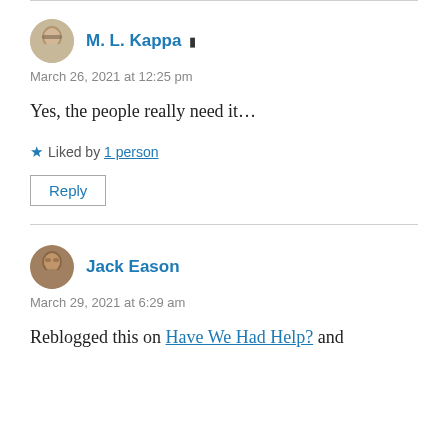M. L. Kappa [author icon]
March 26, 2021 at 12:25 pm
Yes, the people really need it...
★ Liked by 1 person
Reply
Jack Eason
March 29, 2021 at 6:29 am
Reblogged this on Have We Had Help? and